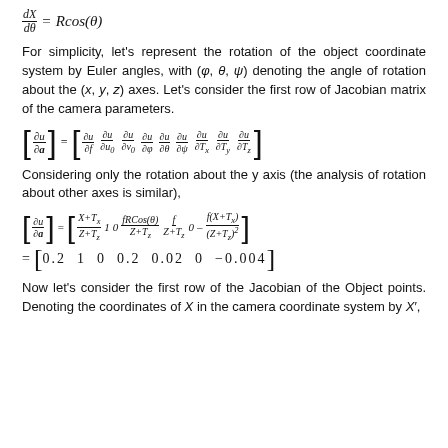For simplicity, let's represent the rotation of the object coordinate system by Euler angles, with (φ, θ, ψ) denoting the angle of rotation about the (x, y, z) axes. Let's consider the first row of Jacobian matrix of the camera parameters.
Considering only the rotation about the y axis (the analysis of rotation about other axes is similar),
Now let's consider the first row of the Jacobian of the Object points. Denoting the coordinates of X in the camera coordinate system by X′,